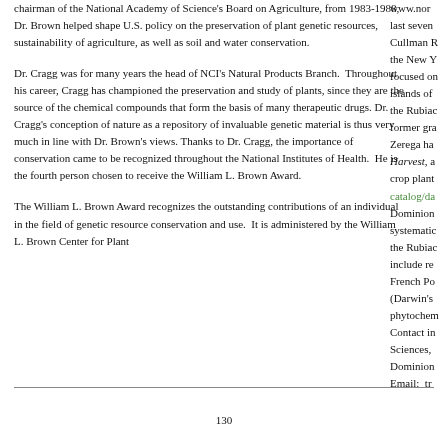chairman of the National Academy of Science's Board on Agriculture, from 1983-1988, Dr. Brown helped shape U.S. policy on the preservation of plant genetic resources, sustainability of agriculture, as well as soil and water conservation.
Dr. Cragg was for many years the head of NCI's Natural Products Branch. Throughout his career, Cragg has championed the preservation and study of plants, since they are the source of the chemical compounds that form the basis of many therapeutic drugs. Dr. Cragg's conception of nature as a repository of invaluable genetic material is thus very much in line with Dr. Brown's views. Thanks to Dr. Cragg, the importance of conservation came to be recognized throughout the National Institutes of Health. He is the fourth person chosen to receive the William L. Brown Award.
The William L. Brown Award recognizes the outstanding contributions of an individual in the field of genetic resource conservation and use. It is administered by the William L. Brown Center for Plant
www.nor... last seven Cullman R the New Y focused on islands of the Rubiac former gra Zerega ha Harvest, a crop plant catalog/da... Dominion systematic the Rubiac include re French Po (Darwin's phytochem Contact in Sciences, Dominion Email: tr
130